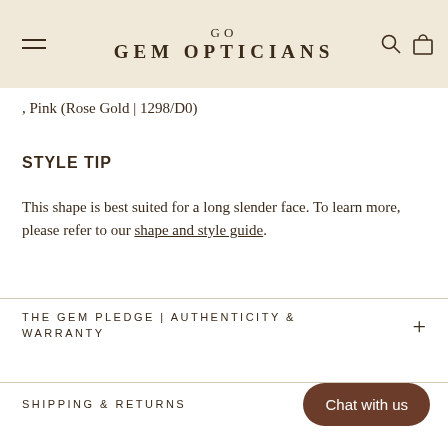GO GEM OPTICIANS
, Pink (Rose Gold | 1298/D0)
STYLE TIP
This shape is best suited for a long slender face. To learn more, please refer to our shape and style guide.
THE GEM PLEDGE | AUTHENTICITY & WARRANTY
SHIPPING & RETURNS